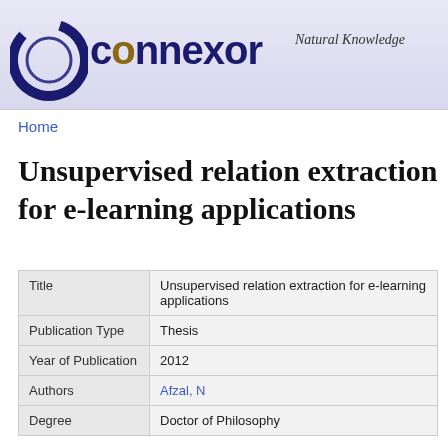[Figure (logo): Connexor Natural Knowledge logo with circular C icon and italic tagline]
Home
Unsupervised relation extraction for e-learning applications
| Title | Unsupervised relation extraction for e-learning applications |
| Publication Type | Thesis |
| Year of Publication | 2012 |
| Authors | Afzal, N |
| Degree | Doctor of Philosophy |